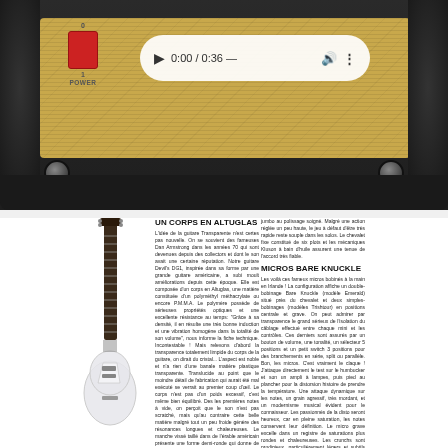[Figure (photo): Top portion of a guitar amplifier with black tolex covering, gold/tan grille cloth, red power switch labeled POWER with 0 and 1 markings, and an embedded audio media player showing 0:00 / 0:36]
[Figure (photo): White/cream electric guitar (transparent body acrylic/Altuglas style) with dark fretboard, leaning against white background, partially visible]
UN CORPS EN ALTUGLAS
L'idée de la guitare Transparente n'est certes pas nouvelle. On se souvient des fameuses Dan Armstrong dans les années 70 qui sont devenues depuis des collectors et dont le son avait une certaine réputation. Notre guitare Devil's DG1, inspirée dans sa forme par une grande
guitare américaine, a subi moult améliorations depuis cette époque. Elle est composée d'un corps en Altuglas, une matière constituée d'un polyméthyl méthacrylate ou encore P.M.M.A. Le polymère possède de sérieuses propriétés optiques et une excellente résistance au temps: "Grâce à sa densité, il en résulte une très bonne induction et une vibration homogène dans la totalité de son volume", nous informe la fiche technique. Incontestable ! Mais relevons d'abord la transparence totalement limpide du corps de la guitare, on dirait du cristal... L'aspect est noble et n'a rien d'une banale matière plastique transparente. Translucide au point que le moindre détail de fabrication qui aurait été mal exécuté se verrait au premier coup d'œil. Le corps n'est pas d'un poids excessif, c'est même bien équilibré. Des les premières notes à vide, on perçoit que le son n'est pas scratché, mais qu'au contraire cette belle matière malgré tout un peu froide génère des résonances longues et chaleureuses. Le manche vissé taillé dans de l'érable américain présente une forme demi-ronde qui donne de bons appuis au pouce et offre un jeu confortable en accords. La touche en palissandre sélectionné est incrustée de 22 frettes de taille
jumbo au polissage soigné. Malgré une action réglée un peu haute, le jeu à défaut d'être très rapide reste souple dans les solos. Le chevalet fixe constitué de six plots et les mécaniques Kluson à bain d'huile assurent une tenue de l'accord très fiable.
MICROS BARE KNUCKLE
Les voilà ces fameux micros bobinés à la main en Irlande ! La configuration affiche un double-bobinage Bare Knuckle (modèle Emerald) situé près du chevalet et deux simples-bobinages (modèles Trishtour) en positions centrale et grave. On peut admirer par transparence le grand sérieux de l'isolation du câblage effectué entre chaque mini et les contrôles. Ces derniers sont assurés par un bouton de volume, une tonalité, un sélecteur 5 positions et un petit switch 3 positions pour des branchements en série, split ou parallèle. Bon, les micros. C'est vraiment le claque ! J'attaque directement le test sur le humbucker et son un ampli à lampes, puis pied au plancher pour la distorsion histoire de prendre la température. Une attaque dynamique sur les notes, un grain agressif, très mordant, et un modernisme musical évident pour le connaisseur. Les passionnés de la disto seront heureux, car en pleine saturation, les notes conservent leur définition. Le micro grave excelle dans un registre de saturations plus rondes et chaleureuses. Les crunchs sont prodigieux, particulièrement légers et subtils (en mode split) pour des rythmiques très sèches et bluesy. On peut tout faire ! Les positions